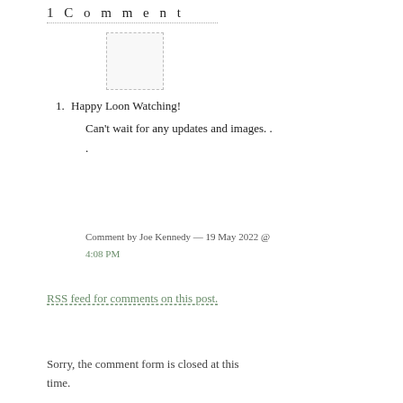1 Comment
[Figure (other): Avatar placeholder image, empty dashed rectangle]
1. Happy Loon Watching!
Can't wait for any updates and images. . .
Comment by Joe Kennedy — 19 May 2022 @ 4:08 PM
RSS feed for comments on this post.
Sorry, the comment form is closed at this time.